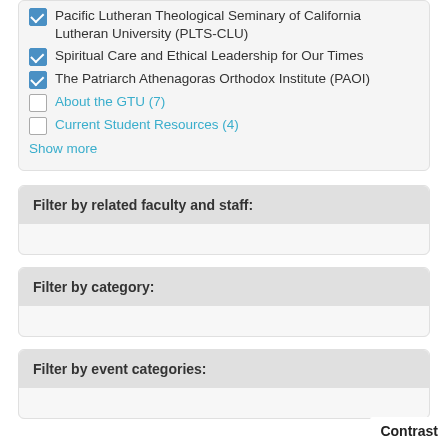Pacific Lutheran Theological Seminary of California Lutheran University (PLTS-CLU)
Spiritual Care and Ethical Leadership for Our Times
The Patriarch Athenagoras Orthodox Institute (PAOI)
About the GTU (7)
Current Student Resources (4)
Show more
Filter by related faculty and staff:
Filter by category:
Filter by event categories:
Contrast